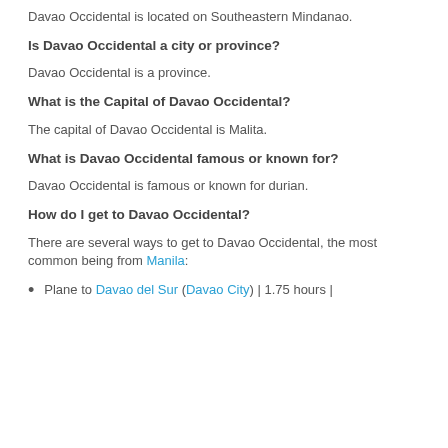Davao Occidental is located on Southeastern Mindanao.
Is Davao Occidental a city or province?
Davao Occidental is a province.
What is the Capital of Davao Occidental?
The capital of Davao Occidental is Malita.
What is Davao Occidental famous or known for?
Davao Occidental is famous or known for durian.
How do I get to Davao Occidental?
There are several ways to get to Davao Occidental, the most common being from Manila:
Plane to Davao del Sur (Davao City) | 1.75 hours |